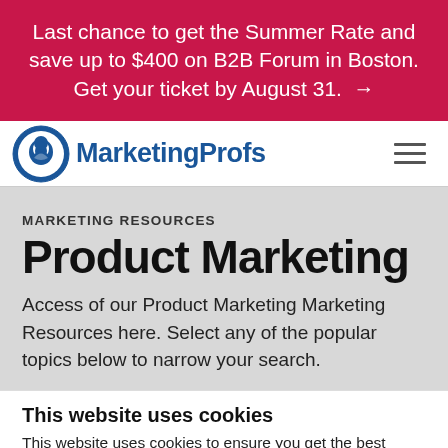Last chance to get the Summer Rate and save up to $400 on B2B Forum in Boston. Get your ticket by August 31. →
[Figure (logo): MarketingProfs logo with bird icon in blue circle and MarketingProfs text in blue]
MARKETING RESOURCES
Product Marketing
Access of our Product Marketing Marketing Resources here. Select any of the popular topics below to narrow your search.
This website uses cookies
This website uses cookies to ensure you get the best experience. The cookie law requires us to let you know that we use cookies for personalization, website traffic analysis, 3rd party tracking, and website functionality. And yeah, we're disappointed that the cookie law doesn't deliver actual cookies.